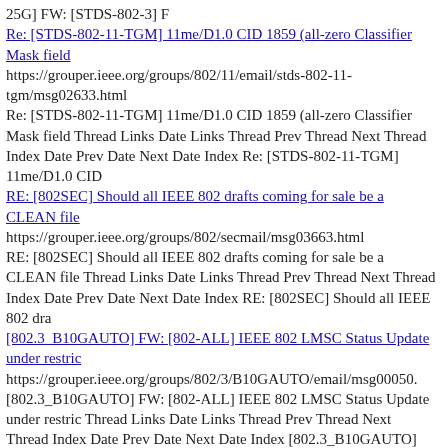25G] FW: [STDS-802-3] F
Re: [STDS-802-11-TGM] 11me/D1.0 CID 1859 (all-zero Classifier Mask field
https://grouper.ieee.org/groups/802/11/email/stds-802-11-tgm/msg02633.html
Re: [STDS-802-11-TGM] 11me/D1.0 CID 1859 (all-zero Classifier Mask field Thread Links Date Links Thread Prev Thread Next Thread Index Date Prev Date Next Date Index Re: [STDS-802-11-TGM] 11me/D1.0 CID
RE: [802SEC] Should all IEEE 802 drafts coming for sale be a CLEAN file
https://grouper.ieee.org/groups/802/secmail/msg03663.html
RE: [802SEC] Should all IEEE 802 drafts coming for sale be a CLEAN file Thread Links Date Links Thread Prev Thread Next Thread Index Date Prev Date Next Date Index RE: [802SEC] Should all IEEE 802 dra
[802.3_B10GAUTO] FW: [802-ALL] IEEE 802 LMSC Status Update under restric
https://grouper.ieee.org/groups/802/3/B10GAUTO/email/msg00050.
[802.3_B10GAUTO] FW: [802-ALL] IEEE 802 LMSC Status Update under restric Thread Links Date Links Thread Prev Thread Next Thread Index Date Prev Date Next Date Index [802.3_B10GAUTO] FW: [802-ALL] IEEE
[802.3_10SPE] FW: [802-ALL] 802-0317-March 2017 IEEE 802 Plenary-Early R